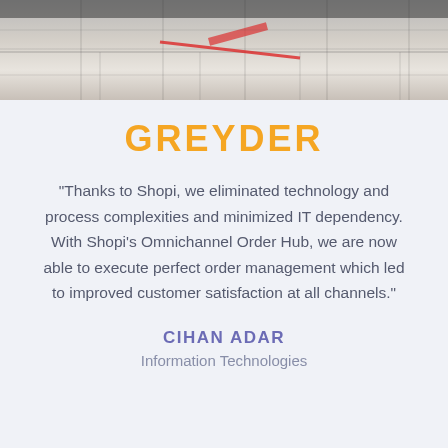[Figure (photo): Top portion of a photo showing a tiled floor or surface with a red laser or light beam, industrial or retail environment]
GREYDER
“Thanks to Shopi, we eliminated technology and process complexities and minimized IT dependency. With Shopi’s Omnichannel Order Hub, we are now able to execute perfect order management which led to improved customer satisfaction at all channels.”
CIHAN ADAR
Information Technologies